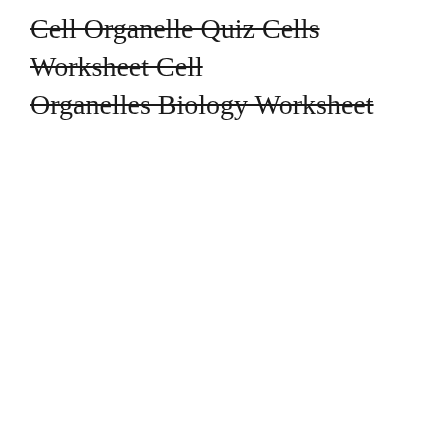Cell Organelle Quiz Cells Worksheet Cell Organelles Biology Worksheet